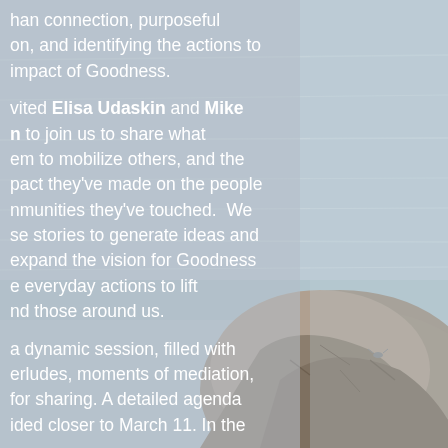[Figure (photo): Background photo of ocean water and a large rocky boulder, with a seagull visible near the rock. The scene is coastal with grey-blue water and a large stone in the lower right area.]
han connection, purposeful on, and identifying the actions to impact of Goodness.

vited Elisa Udaskin and Mike n to join us to share what em to mobilize others, and the pact they've made on the people nmunities they've touched. We se stories to generate ideas and expand the vision for Goodness e everyday actions to lift nd those around us.

a dynamic session, filled with erludes, moments of mediation, for sharing. A detailed agenda ided closer to March 11. In the